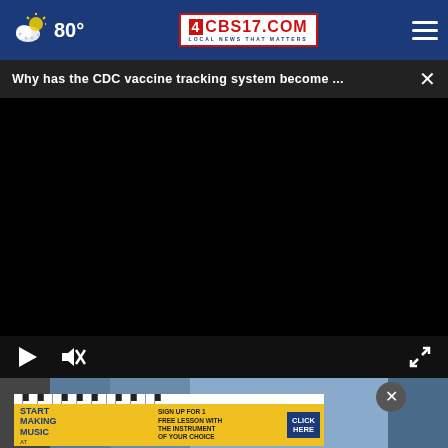CBS17.COM | LOCAL NEWS THAT MATTERS | 80°
Why has the CDC vaccine tracking system become ...
[Figure (screenshot): Black video player area showing a paused or loading video, with play button, mute button, and fullscreen expand icon in the control bar below.]
[Figure (photo): Bottom portion showing a real-world photo partially visible, with an advertisement overlay for 'Start Making Music at The Musicians Learning Center - Sign up for 1 free lesson with the instrument of your choice - Click Here'.]